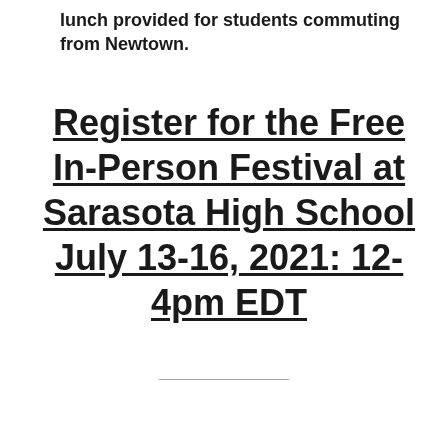lunch provided for students commuting from Newtown.
Register for the Free In-Person Festival at Sarasota High School July 13-16, 2021: 12-4pm EDT